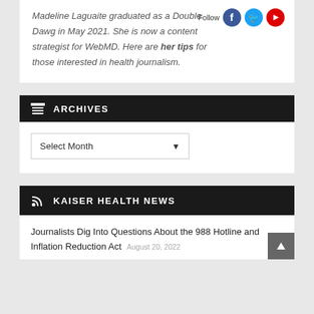Madeline Laguaite graduated as a Double Dawg in May 2021. She is now a content strategist for WebMD. Here are her tips for those interested in health journalism.
ARCHIVES
Select Month
KAISER HEALTH NEWS
Journalists Dig Into Questions About the 988 Hotline and Inflation Reduction Act
August 20, 2022